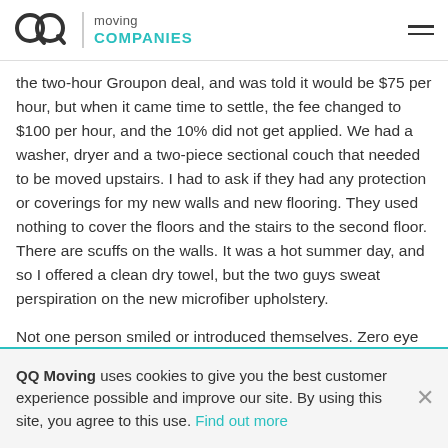QQ moving COMPANIES
the two-hour Groupon deal, and was told it would be $75 per hour, but when it came time to settle, the fee changed to $100 per hour, and the 10% did not get applied. We had a washer, dryer and a two-piece sectional couch that needed to be moved upstairs. I had to ask if they had any protection or coverings for my new walls and new flooring. They used nothing to cover the floors and the stairs to the second floor. There are scuffs on the walls. It was a hot summer day, and so I offered a clean dry towel, but the two guys sweat perspiration on the new microfiber upholstery.
Not one person smiled or introduced themselves. Zero eye contact.
I got charged $250 more than what I expected to pay. While they worked, I was polite and gave the men bottled water and soda
QQ Moving uses cookies to give you the best customer experience possible and improve our site. By using this site, you agree to this use. Find out more